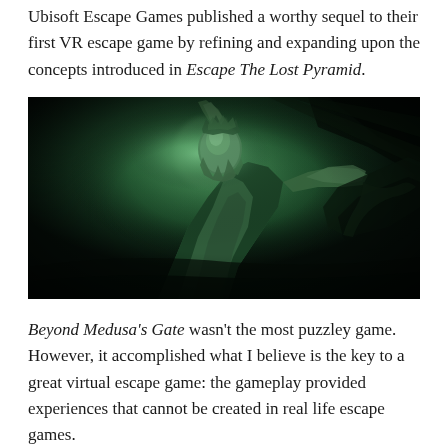Ubisoft Escape Games published a worthy sequel to their first VR escape game by refining and expanding upon the concepts introduced in Escape The Lost Pyramid.
[Figure (photo): Dark atmospheric game screenshot showing a green-lit ancient Greek/mythological stone statue of a figure with arms raised, set against a dark cave or temple background.]
Beyond Medusa's Gate wasn't the most puzzley game. However, it accomplished what I believe is the key to a great virtual escape game: the gameplay provided experiences that cannot be created in real life escape games.